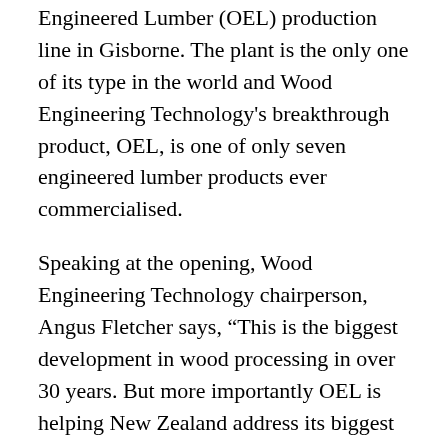Engineered Lumber (OEL) production line in Gisborne. The plant is the only one of its type in the world and Wood Engineering Technology's breakthrough product, OEL, is one of only seven engineered lumber products ever commercialised.
Speaking at the opening, Wood Engineering Technology chairperson, Angus Fletcher says, “This is the biggest development in wood processing in over 30 years. But more importantly OEL is helping New Zealand address its biggest challenges – climate change, productivity, regional development, and the need for higher density housing.
“For years New Zealand has been talking about moving up the value chain to improve our productivity in the primary industries. Our disruptive technology turns unprocessed logs, that would have otherwise